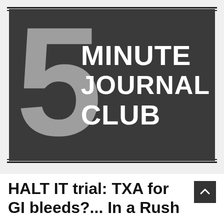[Figure (logo): 5 Minute Journal Club logo: large grey numeral '5' overlaid on a dark rectangular banner with white bold text reading 'MINUTE JOURNAL CLUB', framed by thin black border lines on a light grey background.]
HALT IT trial: TXA for GI bleeds?... In a Rush